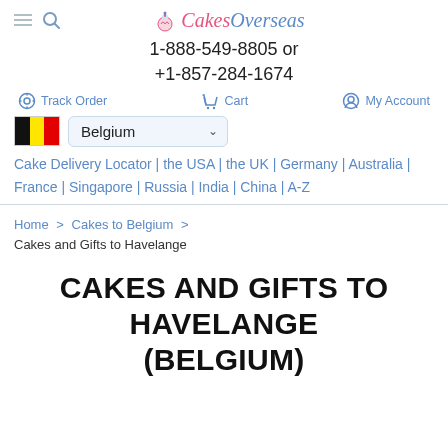CakesOverseas — 1-888-549-8805 or +1-857-284-1674 — Track Order | Cart | My Account
Belgium (country selector)
Cake Delivery Locator | the USA | the UK | Germany | Australia | France | Singapore | Russia | India | China | A-Z
Home > Cakes to Belgium > Cakes and Gifts to Havelange
CAKES AND GIFTS TO HAVELANGE (BELGIUM)